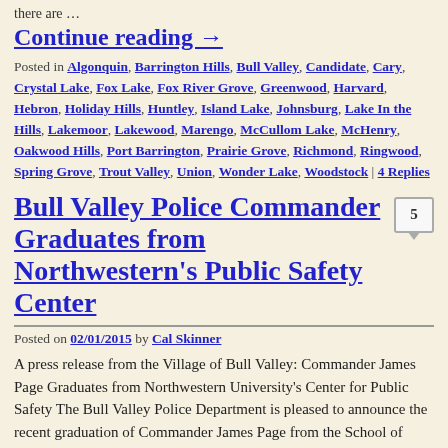there are …
Continue reading →
Posted in Algonquin, Barrington Hills, Bull Valley, Candidate, Cary, Crystal Lake, Fox Lake, Fox River Grove, Greenwood, Harvard, Hebron, Holiday Hills, Huntley, Island Lake, Johnsburg, Lake In the Hills, Lakemoor, Lakewood, Marengo, McCullom Lake, McHenry, Oakwood Hills, Port Barrington, Prairie Grove, Richmond, Ringwood, Spring Grove, Trout Valley, Union, Wonder Lake, Woodstock | 4 Replies
Bull Valley Police Commander Graduates from Northwestern's Public Safety Center
Posted on 02/01/2015 by Cal Skinner
A press release from the Village of Bull Valley: Commander James Page Graduates from Northwestern University's Center for Public Safety The Bull Valley Police Department is pleased to announce the recent graduation of Commander James Page from the School of Police …
Continue reading →
Posted in Bull Valley, James Page, Northwestern University | 5 Replies